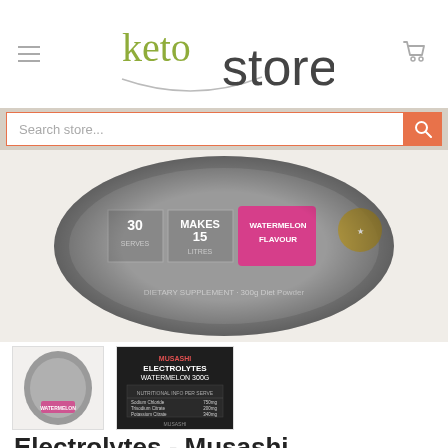keto store — website header with logo, hamburger menu, and cart icon
Search store...
[Figure (photo): Close-up bottom view of a grey canister of Musashi Electrolytes Watermelon flavour dietary supplement powder, showing serving info and pink Watermelon Flavour label]
[Figure (photo): Thumbnail: front view of Musashi Electrolytes Watermelon canister]
[Figure (photo): Thumbnail: nutrition facts panel of Musashi Electrolytes Watermelon 300g]
Electrolytes - Musashi